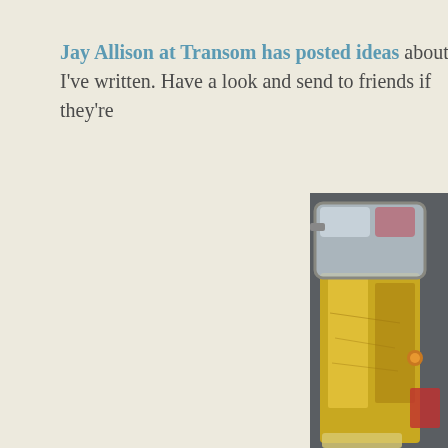Jay Allison at Transom has posted ideas about ho I've written. Have a look and send to friends if they're
[Figure (photo): Close-up photograph of a golden/yellow brass instrument or machine part with a glass or transparent lens/visor on top, set against a dark metal background with industrial fittings. The object appears to be some kind of industrial gauge or tool.]